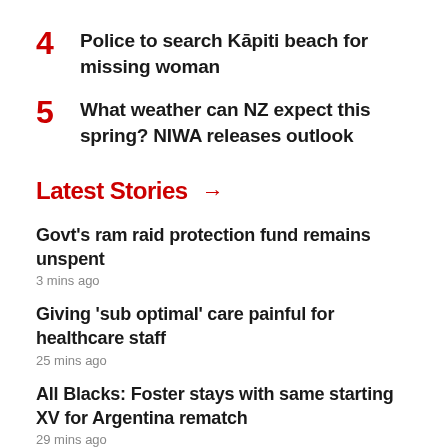4  Police to search Kāpiti beach for missing woman
5  What weather can NZ expect this spring? NIWA releases outlook
Latest Stories →
Govt's ram raid protection fund remains unspent
3 mins ago
Giving 'sub optimal' care painful for healthcare staff
25 mins ago
All Blacks: Foster stays with same starting XV for Argentina rematch
29 mins ago
Dame Valerie Adams, Dame Noeline Taurua join HPSNZ board